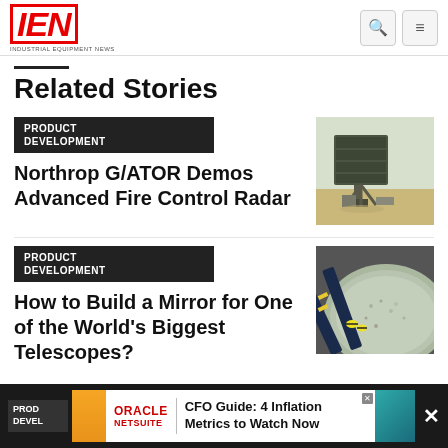IEN — INDUSTRIAL EQUIPMENT NEWS
Related Stories
PRODUCT DEVELOPMENT
Northrop G/ATOR Demos Advanced Fire Control Radar
[Figure (photo): Large military radar system on a stand outdoors in desert environment]
PRODUCT DEVELOPMENT
How to Build a Mirror for One of the World's Biggest Telescopes?
[Figure (photo): Close-up view of a large circular mirror being polished or inspected]
PRODUCT DEVELOPMENT
[Figure (other): Oracle NetSuite advertisement: CFO Guide: 4 Inflation Metrics to Watch Now]